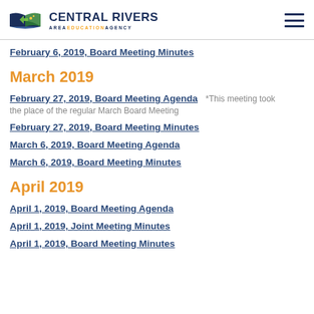Central Rivers Area Education Agency
February 6, 2019, Board Meeting Minutes
March 2019
February 27, 2019, Board Meeting Agenda  *This meeting took the place of the regular March Board Meeting
February 27, 2019, Board Meeting Minutes
March 6, 2019, Board Meeting Agenda
March 6, 2019, Board Meeting Minutes
April 2019
April 1, 2019, Board Meeting Agenda
April 1, 2019, Joint Meeting Minutes
April 1, 2019, Board Meeting Minutes